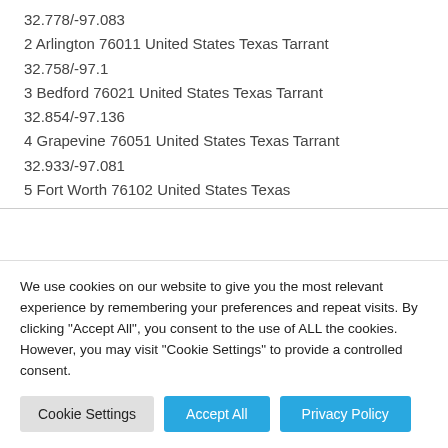32.778/-97.083
2 Arlington 76011 United States Texas Tarrant
32.758/-97.1
3 Bedford 76021 United States Texas Tarrant
32.854/-97.136
4 Grapevine 76051 United States Texas Tarrant
32.933/-97.081
5 Fort Worth 76102 United States Texas
We use cookies on our website to give you the most relevant experience by remembering your preferences and repeat visits. By clicking "Accept All", you consent to the use of ALL the cookies. However, you may visit "Cookie Settings" to provide a controlled consent.